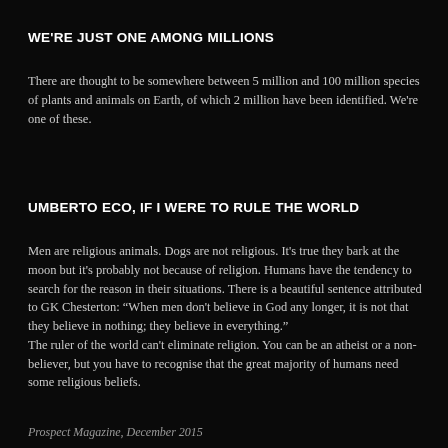WE'RE JUST ONE AMONG MILLIONS
There are thought to be somewhere between 5 million and 100 million species of plants and animals on Earth, of which 2 million have been identified. We're one of these.
UMBERTO ECO, IF I WERE TO RULE THE WORLD
Men are religious animals. Dogs are not religious. It's true they bark at the moon but it's probably not because of religion. Humans have the tendency to search for the reason in their situations. There is a beautiful sentence attributed to GK Chesterton: “When men don't believe in God any longer, it is not that they believe in nothing; they believe in everything."
The ruler of the world can't eliminate religion. You can be an atheist or a non-believer, but you have to recognise that the great majority of humans need some religious beliefs.
Prospect Magazine, December 2015